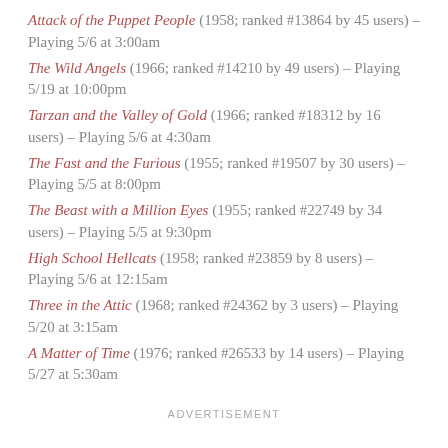Attack of the Puppet People (1958; ranked #13864 by 45 users) – Playing 5/6 at 3:00am
The Wild Angels (1966; ranked #14210 by 49 users) – Playing 5/19 at 10:00pm
Tarzan and the Valley of Gold (1966; ranked #18312 by 16 users) – Playing 5/6 at 4:30am
The Fast and the Furious (1955; ranked #19507 by 30 users) – Playing 5/5 at 8:00pm
The Beast with a Million Eyes (1955; ranked #22749 by 34 users) – Playing 5/5 at 9:30pm
High School Hellcats (1958; ranked #23859 by 8 users) – Playing 5/6 at 12:15am
Three in the Attic (1968; ranked #24362 by 3 users) – Playing 5/20 at 3:15am
A Matter of Time (1976; ranked #26533 by 14 users) – Playing 5/27 at 5:30am
ADVERTISEMENT